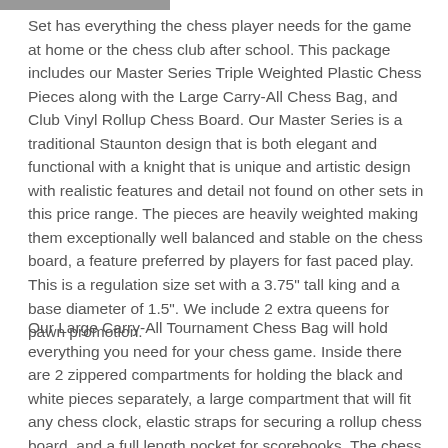Set has everything the chess player needs for the game at home or the chess club after school. This package includes our Master Series Triple Weighted Plastic Chess Pieces along with the Large Carry-All Chess Bag, and Club Vinyl Rollup Chess Board. Our Master Series is a traditional Staunton design that is both elegant and functional with a knight that is unique and artistic design with realistic features and detail not found on other sets in this price range. The pieces are heavily weighted making them exceptionally well balanced and stable on the chess board, a feature preferred by players for fast paced play. This is a regulation size set with a 3.75" tall king and a base diameter of 1.5". We include 2 extra queens for pawn promotion.
Our Large Carry-All Tournament Chess Bag will hold everything you need for your chess game. Inside there are 2 zippered compartments for holding the black and white pieces separately, a large compartment that will fit any chess clock, elastic straps for securing a rollup chess board, and a full length pocket for scorebooks. The chess piece compartments will hold plastic sets with up to a 3.75" king including spare